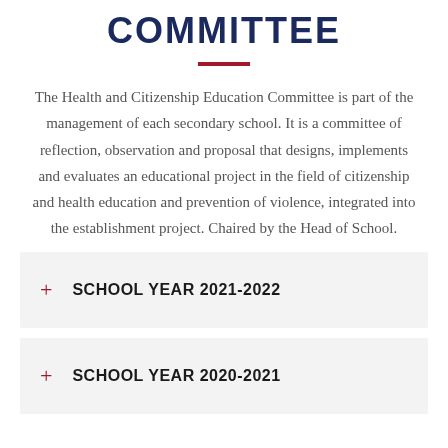COMMITTEE
The Health and Citizenship Education Committee is part of the management of each secondary school. It is a committee of reflection, observation and proposal that designs, implements and evaluates an educational project in the field of citizenship and health education and prevention of violence, integrated into the establishment project. Chaired by the Head of School.
+ SCHOOL YEAR 2021-2022
+ SCHOOL YEAR 2020-2021